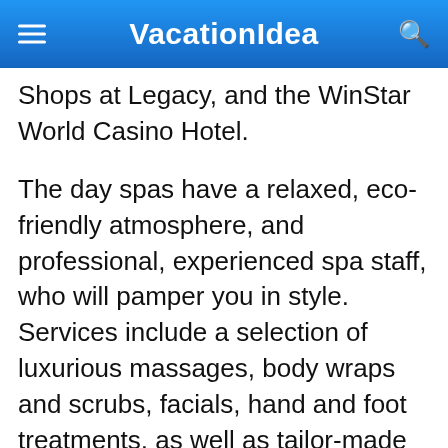VacationIdea
Shops at Legacy, and the WinStar World Casino Hotel.
The day spas have a relaxed, eco-friendly atmosphere, and professional, experienced spa staff, who will pamper you in style. Services include a selection of luxurious massages, body wraps and scrubs, facials, hand and foot treatments, as well as tailor-made spa packages.
Inside the spa, you will find an organic apothecary, which stocks the highest quality